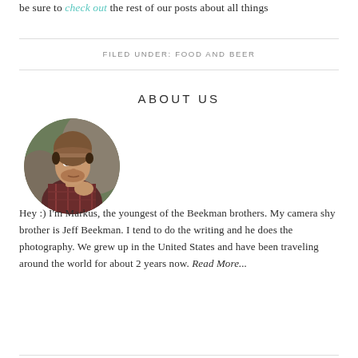be sure to check out the rest of our posts about all things
FILED UNDER: FOOD AND BEER
ABOUT US
[Figure (photo): Circular portrait photo of Markus Beekman, a young man wearing a beanie hat and plaid flannel shirt, looking upward, with a natural outdoor background]
Hey :) I'm Markus, the youngest of the Beekman brothers. My camera shy brother is Jeff Beekman. I tend to do the writing and he does the photography. We grew up in the United States and have been traveling around the world for about 2 years now. Read More...